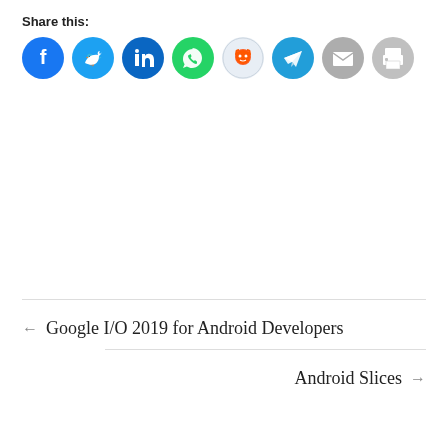Share this:
[Figure (other): Row of social sharing icon buttons: Facebook (blue), Twitter (blue), LinkedIn (dark blue), WhatsApp (green), Reddit (light blue/gray), Telegram (blue), Email (gray), Print (gray)]
← Google I/O 2019 for Android Developers
Android Slices →